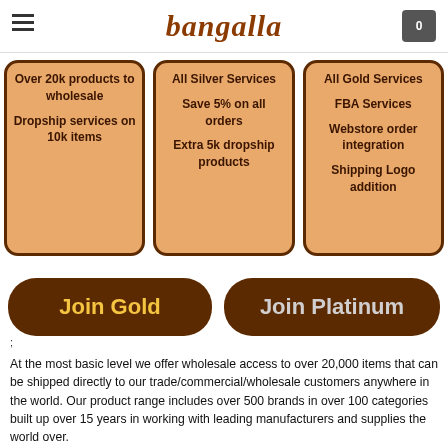bangalla
[Figure (illustration): Three service tier cards: first card lists 'Over 20k products to wholesale' and 'Dropship services on 10k items'; second card lists 'All Silver Services', 'Save 5% on all orders', 'Extra 5k dropship products'; third card lists 'All Gold Services', 'FBA Services', 'Webstore order integration', 'Shipping Logo addition'.]
Join Gold
Join Platinum
At the most basic level we offer wholesale access to over 20,000 items that can be shipped directly to our trade/commercial/wholesale customers anywhere in the world. Our product range includes over 500 brands in over 100 categories built up over 15 years in working with leading manufacturers and supplies the world over.